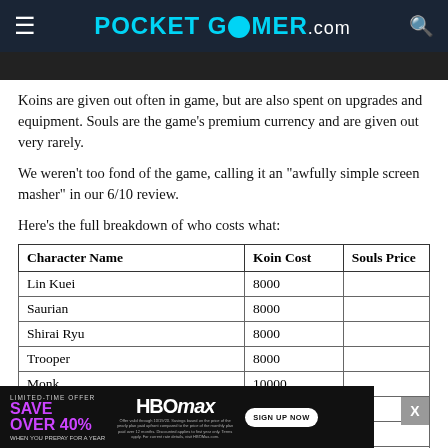POCKET GAMER.com
[Figure (photo): Dark image bar at top of article]
Koins are given out often in game, but are also spent on upgrades and equipment. Souls are the game's premium currency and are given out very rarely.
We weren't too fond of the game, calling it an "awfully simple screen masher" in our 6/10 review.
Here's the full breakdown of who costs what:
| Character Name | Koin Cost | Souls Price |
| --- | --- | --- |
| Lin Kuei | 8000 |  |
| Saurian | 8000 |  |
| Shirai Ryu | 8000 |  |
| Trooper | 8000 |  |
| Monk | 10000 |  |
| Osh-Tekk | 10000 |  |
| Sergeant |  |  |
| Oni |  |  |
| Jacqui Bri... |  |  |
[Figure (screenshot): HBO Max advertisement overlay: LIMITED-TIME OFFER SAVE OVER 40% WHEN YOU PREPAY FOR A YEAR. HBO max logo with SIGN UP NOW button.]